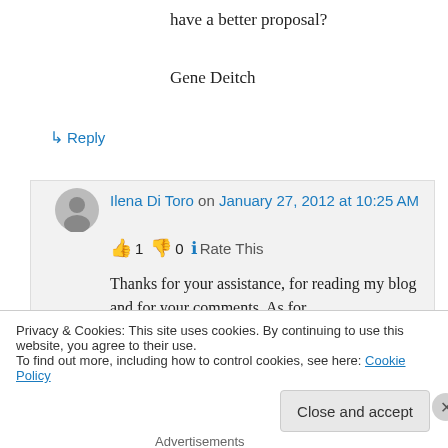have a better proposal?
Gene Deitch
↳ Reply
Ilena Di Toro on January 27, 2012 at 10:25 AM
👍 1 👎 0 ℹ Rate This
Thanks for your assistance, for reading my blog and for your comments. As for
Privacy & Cookies: This site uses cookies. By continuing to use this website, you agree to their use.
To find out more, including how to control cookies, see here: Cookie Policy
Close and accept
Advertisements